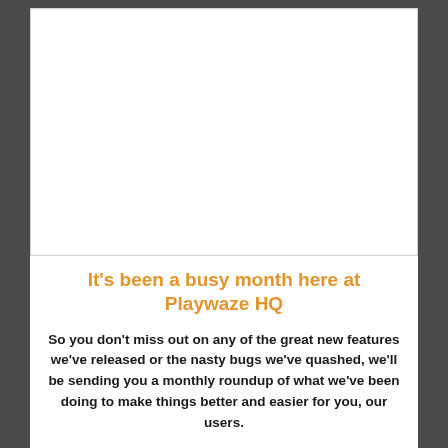[Figure (photo): Large white/blank image area at top of card]
It's been a busy month here at Playwaze HQ
So you don't miss out on any of the great new features we've released or the nasty bugs we've quashed, we'll be sending you a monthly roundup of what we've been doing to make things better and easier for you, our users.